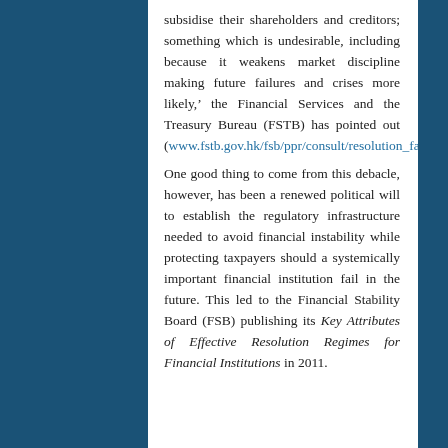subsidise their shareholders and creditors; something which is undesirable, including because it weakens market discipline making future failures and crises more likely,' the Financial Services and the Treasury Bureau (FSTB) has pointed out (www.fstb.gov.hk/fsb/ppr/consult/resolution_faq_e.pdf). One good thing to come from this debacle, however, has been a renewed political will to establish the regulatory infrastructure needed to avoid financial instability while protecting taxpayers should a systemically important financial institution fail in the future. This led to the Financial Stability Board (FSB) publishing its Key Attributes of Effective Resolution Regimes for Financial Institutions in 2011.